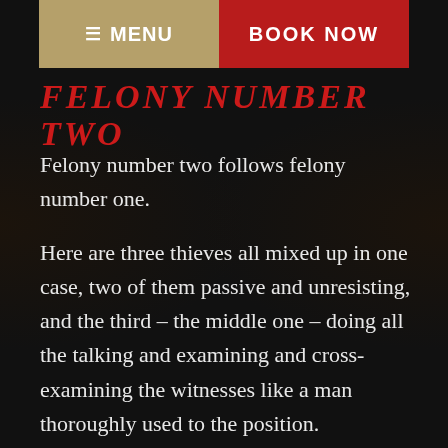≡ MENU   BOOK NOW
FELONY NUMBER TWO
Felony number two follows felony number one.
Here are three thieves all mixed up in one case, two of them passive and unresisting, and the third – the middle one – doing all the talking and examining and cross-examining the witnesses like a man thoroughly used to the position.